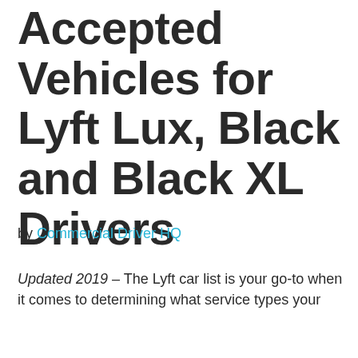Accepted Vehicles for Lyft Lux, Black and Black XL Drivers
by Commercial Driver HQ
Updated 2019 – The Lyft car list is your go-to when it comes to determining what service types your